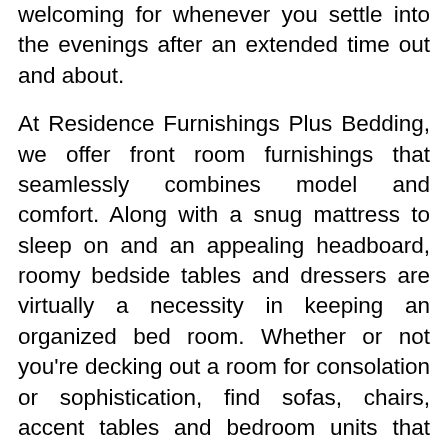welcoming for whenever you settle into the evenings after an extended time out and about.
At Residence Furnishings Plus Bedding, we offer front room furnishings that seamlessly combines model and comfort. Along with a snug mattress to sleep on and an appealing headboard, roomy bedside tables and dressers are virtually a necessity in keeping an organized bed room. Whether or not you're decking out a room for consolation or sophistication, find sofas, chairs, accent tables and bedroom units that reflect your character—over 3,000 items to choose from.
Legitimate at on ground shipping on a purchase of $65 or extra, excluding items purchased for in-